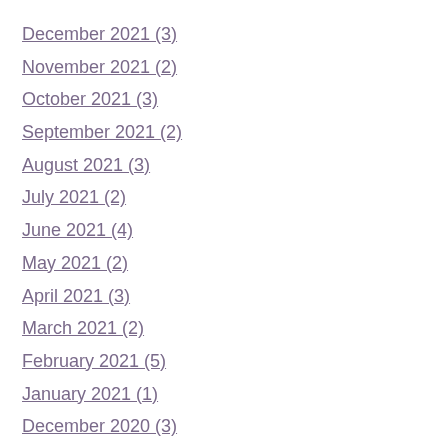December 2021 (3)
November 2021 (2)
October 2021 (3)
September 2021 (2)
August 2021 (3)
July 2021 (2)
June 2021 (4)
May 2021 (2)
April 2021 (3)
March 2021 (2)
February 2021 (5)
January 2021 (1)
December 2020 (3)